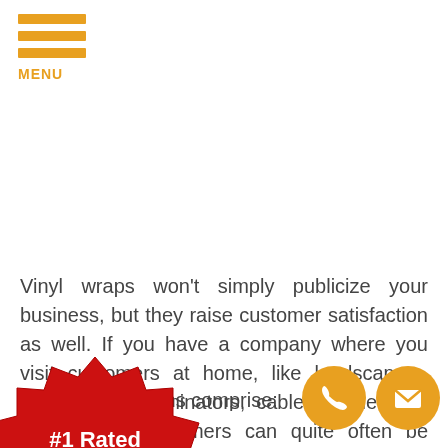MENU
Vinyl wraps won't simply publicize your business, but they raise customer satisfaction as well. If you have a company where you visit customers at home, like landscapers, plumbers, exterminators, cable installers, or electricians, customers can quite often be hesitant to allow you into their homes. With vinyl wraps, customers feel confident that you are who you say you are, and feel more comfortable welcoming you in their homes.
[Figure (illustration): #1 Rated Vehicle Wraps badge - red starburst shape with white text]
Car wrap solutions comprise:
[Figure (infographic): Two orange circle contact icons - phone and email]